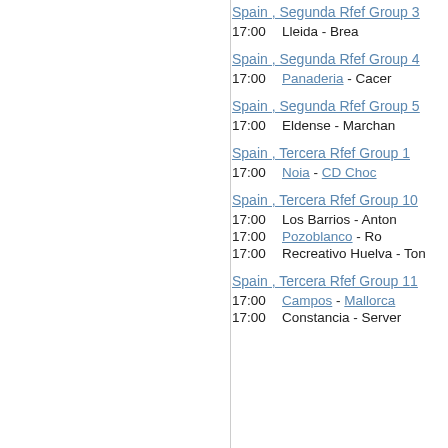Spain , Segunda Rfef Group 3
17:00   Lleida - Brea
Spain , Segunda Rfef Group 4
17:00   Panaderia - Cacer
Spain , Segunda Rfef Group 5
17:00   Eldense - Marchan
Spain , Tercera Rfef Group 1
17:00   Noia - CD Choc
Spain , Tercera Rfef Group 10
17:00   Los Barrios - Anton
17:00   Pozoblanco - Ro
17:00   Recreativo Huelva - Ton
Spain , Tercera Rfef Group 11
17:00   Campos - Mallorca
17:00   Constancia - Server